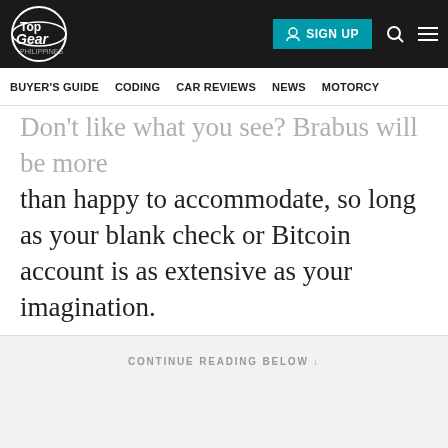Top Gear Philippines — SIGN UP | BUYER'S GUIDE | CODING | CAR REVIEWS | NEWS | MOTORCY
Don't like what you see? Brabus will be more than happy to accommodate, so long as your blank check or Bitcoin account is as extensive as your imagination.
CONTINUE READING BELOW :
Tempted by this over a standard S-Class as your next luxury cruiser, folks?